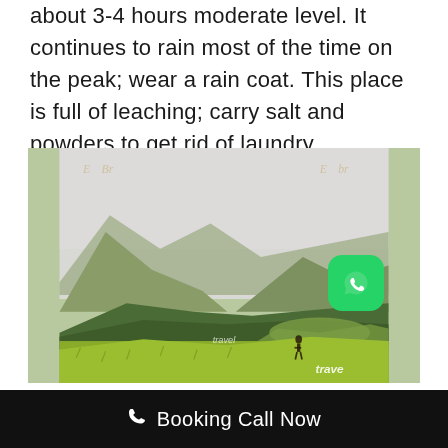about 3-4 hours moderate level. It continues to rain most of the time on the peak; wear a rain coat. This place is full of leaching; carry salt and powders to get rid of laundry
[Figure (photo): Mountain landscape with green rolling hills, grassy foreground in yellow-green, forested lower slopes, and a misty grey sky. A small travel logo watermark is visible at the bottom center. WhatsApp button in bottom-right corner.]
Booking Call Now